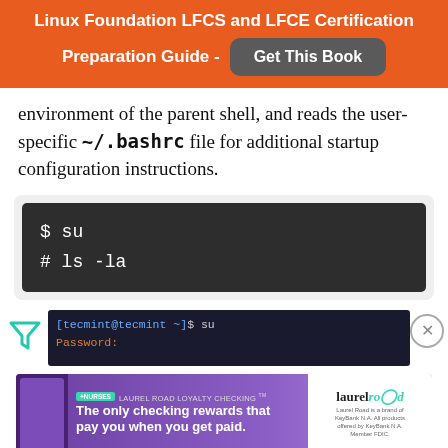[Figure (other): Orange banner with text 'Linux Foundation LFCS and LFCE Certification Preparation Guide -' and a grey 'Get This Book' button]
environment of the parent shell, and reads the user-specific ~/.bashrc file for additional startup configuration instructions.
[Figure (screenshot): Dark code block showing terminal commands: $ su and # ls -la]
[Figure (screenshot): Terminal screenshot showing: [tecmint@tecmint ~]$ su followed by Password: prompt, with a filter icon and close (X) button]
[Figure (other): Advertisement banner for Laurel Road Loyalty Checking: 'The only checking rewards that pay you when you get paid.' with nurse photo and laurel road logo]